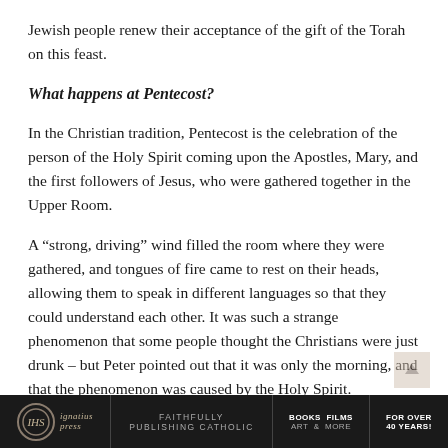Jewish people renew their acceptance of the gift of the Torah on this feast.
What happens at Pentecost?
In the Christian tradition, Pentecost is the celebration of the person of the Holy Spirit coming upon the Apostles, Mary, and the first followers of Jesus, who were gathered together in the Upper Room.
A “strong, driving” wind filled the room where they were gathered, and tongues of fire came to rest on their heads, allowing them to speak in different languages so that they could understand each other. It was such a strange phenomenon that some people thought the Christians were just drunk – but Peter pointed out that it was only the morning, and that the phenomenon was caused by the Holy Spirit.
Ignatius Press | FAITHFULLY PUBLISHING CATHOLIC | BOOKS FILMS ART & MORE | FOR OVER 40 YEARS!